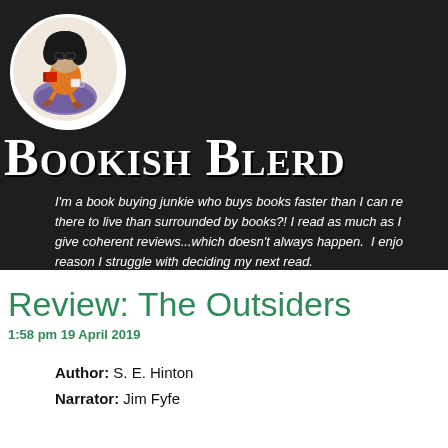[Figure (illustration): Circular avatar/bitmoji of a person with curly dark hair, glasses, sitting in a bean bag chair reading a book with a mug, wearing an orange top]
Bookish Blerd
I'm a book buying junkie who buys books faster than I can re... there to live than surrounded by books?! I read as much as I... give coherent reviews...which doesn't always happen.  I enjo... reason I struggle with deciding my next read.
Review: The Outsiders
1:58 pm 19 April 2019
Author: S. E. Hinton
Narrator: Jim Fyfe